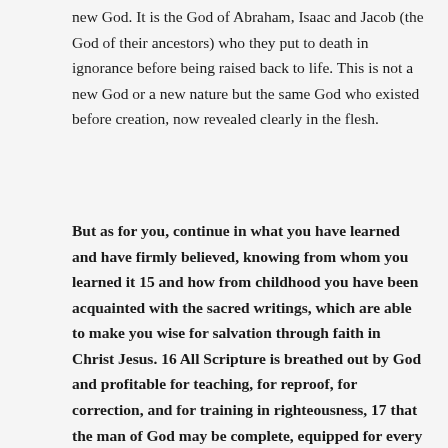new God. It is the God of Abraham, Isaac and Jacob (the God of their ancestors) who they put to death in ignorance before being raised back to life. This is not a new God or a new nature but the same God who existed before creation, now revealed clearly in the flesh.
But as for you, continue in what you have learned and have firmly believed, knowing from whom you learned it 15 and how from childhood you have been acquainted with the sacred writings, which are able to make you wise for salvation through faith in Christ Jesus. 16 All Scripture is breathed out by God and profitable for teaching, for reproof, for correction, and for training in righteousness, 17 that the man of God may be complete, equipped for every good work. – 2 Timothy 3:14-17